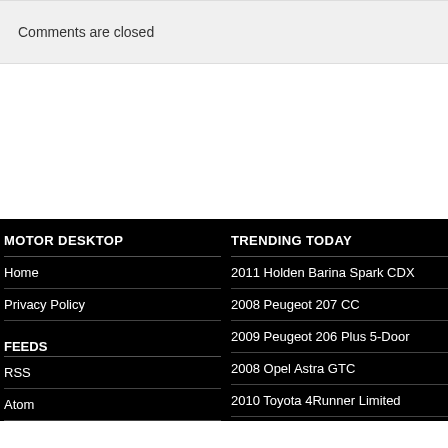Comments are closed
MOTOR DESKTOP
Home
Privacy Policy
FEEDS
RSS
Atom
TRENDING TODAY
2011 Holden Barina Spark CDX
2008 Peugeot 207 CC
2009 Peugeot 206 Plus 5-Door
2008 Opel Astra GTC
2010 Toyota 4Runner Limited